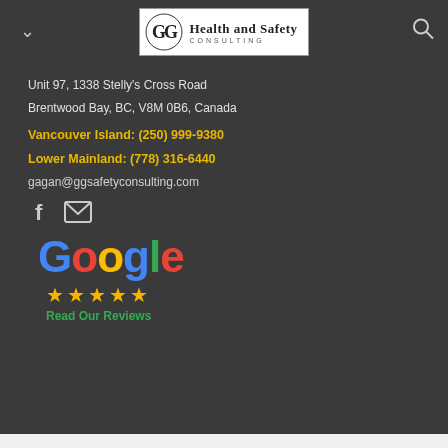[Figure (logo): GG Health and Safety Consulting logo with circular GG monogram icon and text 'Health and Safety CONSULTING']
Unit 97, 1338 Stelly's Cross Road
Brentwood Bay, BC, V8M 0B6, Canada
Vancouver Island: (250) 999-9380
Lower Mainland: (778) 316-6440
gagan@ggsafetyconsulting.com
[Figure (other): Facebook and mail social media icons]
[Figure (logo): Google logo in multicolor (blue, red, yellow, blue, green, red) with 5 gold stars and 'Read Our Reviews' in green text below]